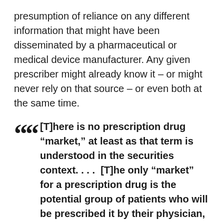presumption of reliance on any different information that might have been disseminated by a pharmaceutical or medical device manufacturer. Any given prescriber might already know it – or might never rely on that source – or even both at the same time.
[T]here is no prescription drug “market,” at least as that term is understood in the securities context. . . .  [T]he only “market” for a prescription drug is the potential group of patients who will be prescribed it by their physician, and if the side effects of the drug make it overly risky to ingest, the doctor will either not prescribe it or the patients will decide not to take it. . . .  [T]he decision to take a particular drug is a medical one, not